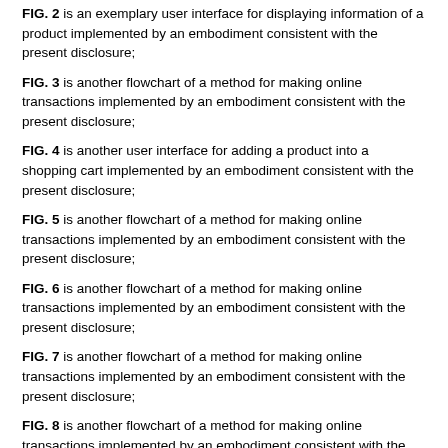FIG. 2 is an exemplary user interface for displaying information of a product implemented by an embodiment consistent with the present disclosure;
FIG. 3 is another flowchart of a method for making online transactions implemented by an embodiment consistent with the present disclosure;
FIG. 4 is another user interface for adding a product into a shopping cart implemented by an embodiment consistent with the present disclosure;
FIG. 5 is another flowchart of a method for making online transactions implemented by an embodiment consistent with the present disclosure;
FIG. 6 is another flowchart of a method for making online transactions implemented by an embodiment consistent with the present disclosure;
FIG. 7 is another flowchart of a method for making online transactions implemented by an embodiment consistent with the present disclosure;
FIG. 8 is another flowchart of a method for making online transactions implemented by an embodiment consistent with the present disclosure;
FIG. 9 is a block diagram of an exemplary user terminal consistent with the present disclosure;
FIG. 10 is another block diagram of an exemplary user terminal consistent with the present disclosure;
FIG. 11 is another block diagram of an exemplary user terminal consistent